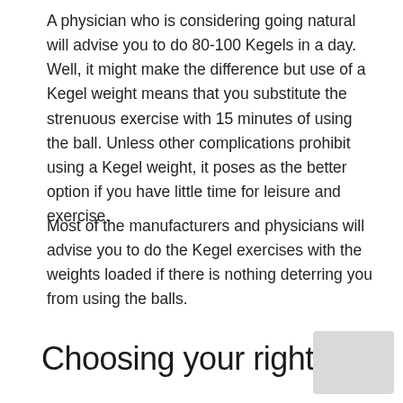A physician who is considering going natural will advise you to do 80-100 Kegels in a day. Well, it might make the difference but use of a Kegel weight means that you substitute the strenuous exercise with 15 minutes of using the ball. Unless other complications prohibit using a Kegel weight, it poses as the better option if you have little time for leisure and exercise.
Most of the manufacturers and physicians will advise you to do the Kegel exercises with the weights loaded if there is nothing deterring you from using the balls.
Choosing your right size